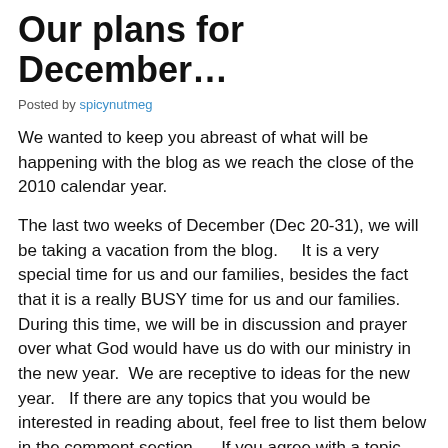Our plans for December…
Posted by spicynutmeg
We wanted to keep you abreast of what will be happening with the blog as we reach the close of the 2010 calendar year.
The last two weeks of December (Dec 20-31), we will be taking a vacation from the blog.    It is a very special time for us and our families, besides the fact that it is a really BUSY time for us and our families.   During this time, we will be in discussion and prayer over what God would have us do with our ministry in the new year.  We are receptive to ideas for the new year.   If there are any topics that you would be interested in reading about, feel free to list them below in the comment section.    If you agree with a topic that is already listed, be sure that you comment on the